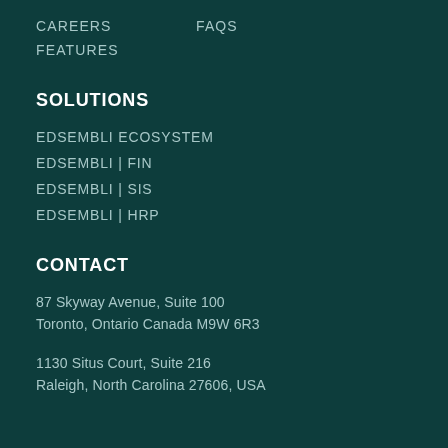CAREERS
FAQS
FEATURES
SOLUTIONS
EDSEMBLI ECOSYSTEM
EDSEMBLI | FIN
EDSEMBLI | SIS
EDSEMBLI | HRP
CONTACT
87 Skyway Avenue, Suite 100
Toronto, Ontario Canada M9W 6R3
1130 Situs Court, Suite 216
Raleigh, North Carolina 27606, USA